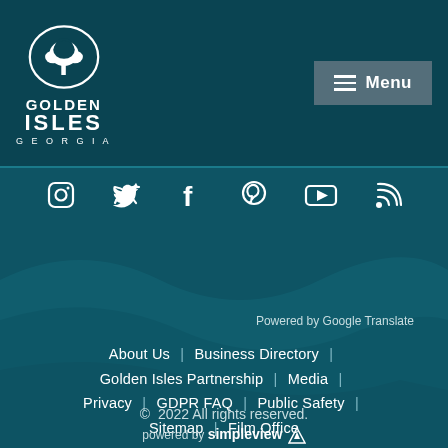[Figure (logo): Golden Isles Georgia logo with tree in oval and text]
[Figure (infographic): Social media icons row: Instagram, Twitter, Facebook, Pinterest, YouTube, RSS/Blog]
Choose your Language
Powered by Google Translate
About Us | Business Directory | Golden Isles Partnership | Media | Privacy | GDPR FAQ | Public Safety | Sitemap | Film Office
© 2022 All rights reserved.
powered by simpleview